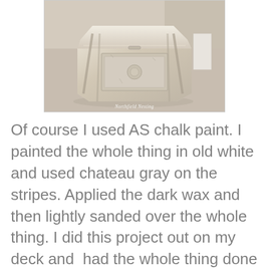[Figure (photo): A whitewashed octagonal wooden chest or coffee table painted in old white chalk paint with chateau gray stripes and dark wax finish, photographed on carpet. Watermark reads 'Northfield Nesting'.]
Of course I used AS chalk paint. I painted the whole thing in old white and used chateau gray on the stripes. Applied the dark wax and then lightly sanded over the whole thing. I did this project out on my deck and  had the whole thing done in an hour.